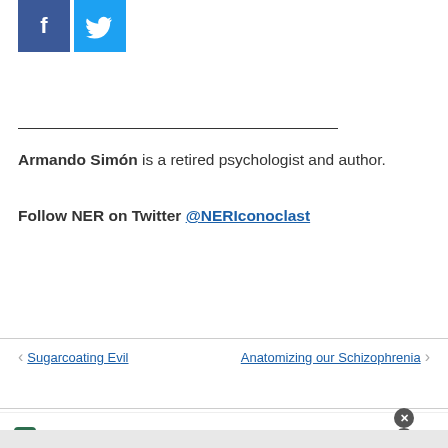[Figure (logo): Facebook and Twitter social media icons]
Armando Simón is a retired psychologist and author.
Follow NER on Twitter @NERIconoclast
< Sugarcoating Evil
Anatomizing our Schizophrenia >
[Figure (infographic): Tally advertisement: Fast credit card payoff, Download Now button]